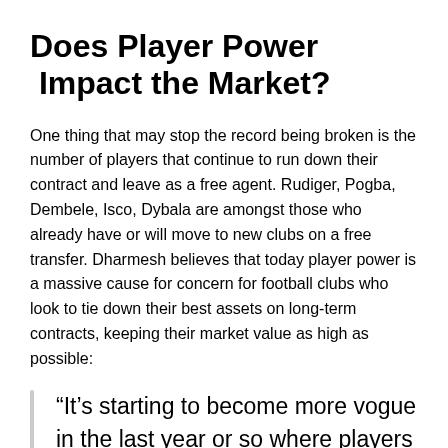Does Player Power Impact the Market?
One thing that may stop the record being broken is the number of players that continue to run down their contract and leave as a free agent. Rudiger, Pogba, Dembele, Isco, Dybala are amongst those who already have or will move to new clubs on a free transfer. Dharmesh believes that today player power is a massive cause for concern for football clubs who look to tie down their best assets on long-term contracts, keeping their market value as high as possible:
“It’s starting to become more vogue in the last year or so where players have decided, ‘I don’t want to sign that contract, I’m not saying I’m not